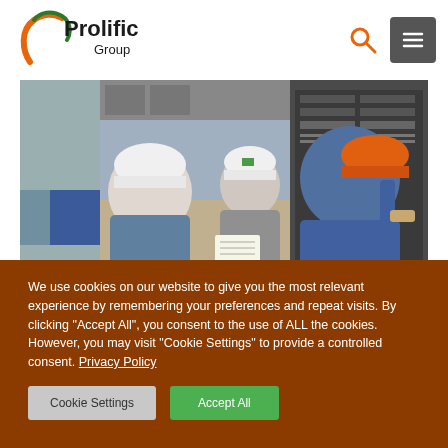Prolific Group
[Figure (photo): Three workers in hard hats (one white, one orange) inspecting or working on electrical panel/equipment in an industrial setting]
We use cookies on our website to give you the most relevant experience by remembering your preferences and repeat visits. By clicking "Accept All", you consent to the use of ALL the cookies. However, you may visit "Cookie Settings" to provide a controlled consent. Privacy Policy
Cookie Settings | Accept All